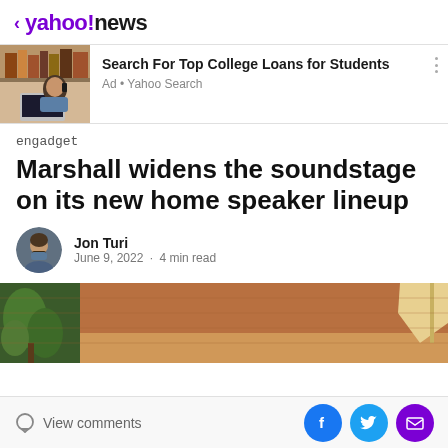< yahoo!news
[Figure (screenshot): Advertisement banner: photo of woman studying with laptop, ad title 'Search For Top College Loans for Students', subtitle 'Ad • Yahoo Search']
engadget
Marshall widens the soundstage on its new home speaker lineup
Jon Turi
June 9, 2022 · 4 min read
[Figure (photo): Partial photo of a room interior with warm wood tones, a green plant, and a lamp visible at the edge.]
View comments  [Facebook] [Twitter] [Email]